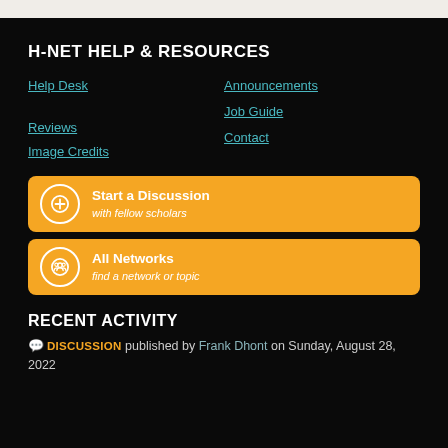H-NET HELP & RESOURCES
Help Desk
Announcements
Job Guide
Reviews
Contact
Image Credits
[Figure (infographic): Orange button: Start a Discussion with fellow scholars, with a plus-circle icon]
[Figure (infographic): Orange button: All Networks find a network or topic, with a people-circle icon]
RECENT ACTIVITY
DISCUSSION published by Frank Dhont on Sunday, August 28, 2022